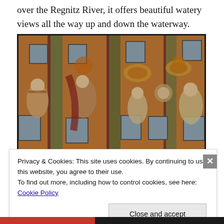over the Regnitz River, it offers beautiful watery views all the way up and down the waterway.
[Figure (photo): Photograph of an ornate building facade painted with elaborate baroque frescoes depicting robed figures, columns, and decorative motifs in orange, red, and green tones, with multiple rows of windows.]
Privacy & Cookies: This site uses cookies. By continuing to use this website, you agree to their use.
To find out more, including how to control cookies, see here: Cookie Policy
Close and accept